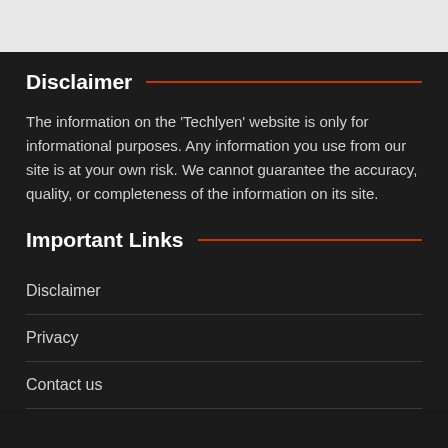Disclaimer
The information on the ‘Techlyen’ website is only for informational purposes. Any information you use from our site is at your own risk. We cannot guarantee the accuracy, quality, or completeness of the information on its site.
Important Links
Disclaimer
Privacy
Contact us